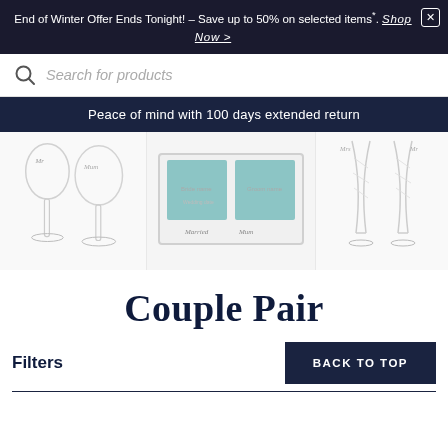End of Winter Offer Ends Tonight! – Save up to 50% on selected items*. Shop Now >
Search for products
Peace of mind with 100 days extended return
[Figure (photo): Three product images: two wine glasses engraved with 'Mr' and 'Mrs', a white photo frame with blue mats, and two crystal champagne flutes engraved with 'Mrs' and 'Mr']
Couple Pair
Filters
BACK TO TOP